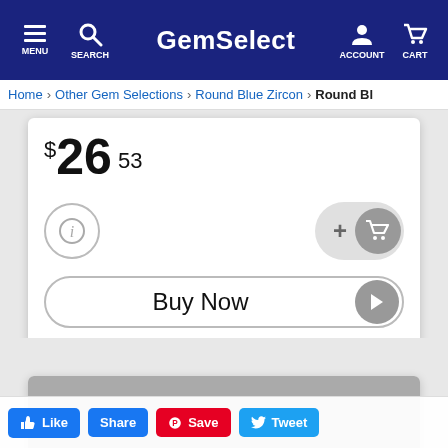GemSelect — MENU SEARCH ACCOUNT CART
Home > Other Gem Selections > Round Blue Zircon > Round Bl
$26.53
[Figure (screenshot): Info button (i circle) and add-to-cart button (+cart icon)]
[Figure (screenshot): Buy Now button with play arrow]
[Figure (photo): Gray placeholder image for gem product]
[Figure (screenshot): Social share bar: Like, Share, Save, Tweet buttons]